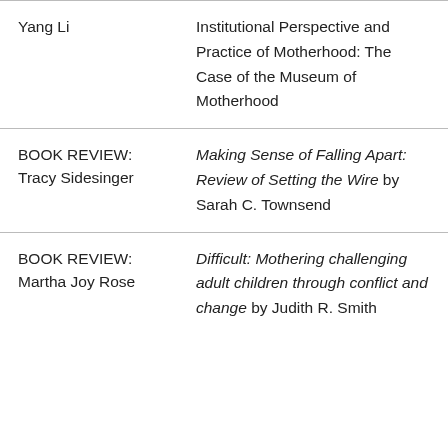| Author | Title |
| --- | --- |
| Yang Li | Institutional Perspective and Practice of Motherhood: The Case of the Museum of Motherhood |
| BOOK REVIEW:
Tracy Sidesinger | Making Sense of Falling Apart: Review of Setting the Wire by Sarah C. Townsend |
| BOOK REVIEW:
Martha Joy Rose | Difficult: Mothering challenging adult children through conflict and change by Judith R. Smith |